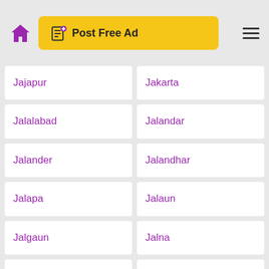Post Free Ad
Jajapur
Jakarta
Jalalabad
Jalandar
Jalander
Jalandhar
Jalapa
Jalaun
Jalgaun
Jalna
Jalna Maharashtra
Jalor